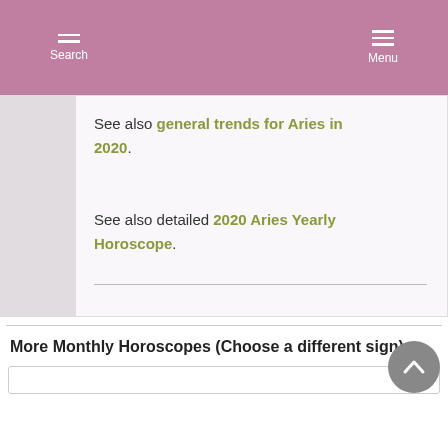Search | Menu
See also general trends for Aries in 2020.
See also detailed 2020 Aries Yearly Horoscope.
More Monthly Horoscopes (Choose a different sign):